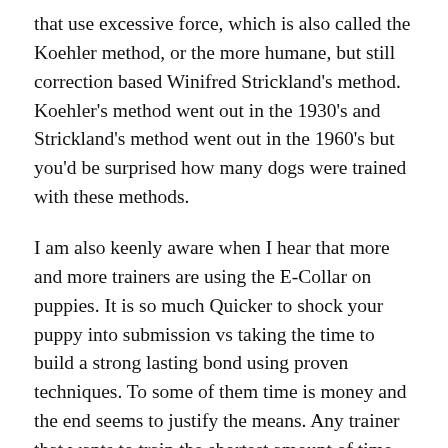that use excessive force, which is also called the Koehler method, or the more humane, but still correction based Winifred Strickland's method. Koehler's method went out in the 1930's and Strickland's method went out in the 1960's but you'd be surprised how many dogs were trained with these methods.
I am also keenly aware when I hear that more and more trainers are using the E-Collar on puppies. It is so much Quicker to shock your puppy into submission vs taking the time to build a strong lasting bond using proven techniques. To some of them time is money and the end seems to justify the means. Any trainer that wants to train the shortest amount of time, and promises full off leash obedience in 2 weeks will definitely use the E-collar. I also would recommend against a trainer that wants to do a board-and-train for a very young puppy to get a certain result in a certain amount of time. Would you send a 2 year old child to